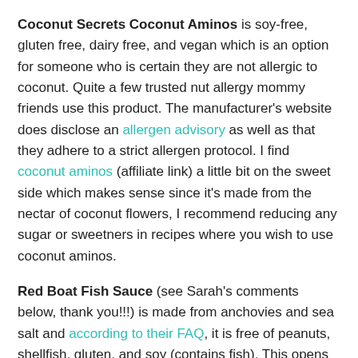Coconut Secrets Coconut Aminos is soy-free, gluten free, dairy free, and vegan which is an option for someone who is certain they are not allergic to coconut. Quite a few trusted nut allergy mommy friends use this product. The manufacturer's website does disclose an allergen advisory as well as that they adhere to a strict allergen protocol. I find coconut aminos (affiliate link) a little bit on the sweet side which makes sense since it's made from the nectar of coconut flowers, I recommend reducing any sugar or sweetners in recipes where you wish to use coconut aminos.
Red Boat Fish Sauce (see Sarah's comments below, thank you!!!) is made from anchovies and sea salt and according to their FAQ, it is free of peanuts, shellfish, gluten, and soy (contains fish). This opens up some yummy options for some Vietnamese dishes, including pho! I usually buy Red Boat Fish Sauce at Trader Joe's when I see it (opportunity buy alert!) otherwise a small bottle from Whole Foods or Amazon (affiliate) is perfect for my needs.